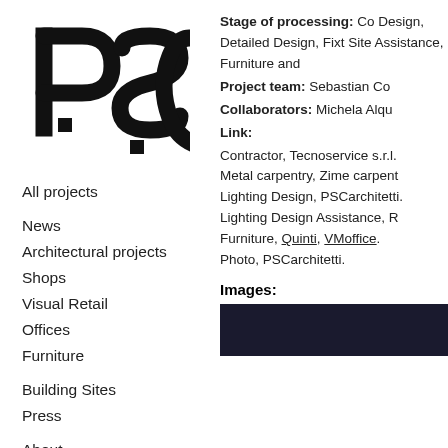[Figure (logo): PSC logo in black, stylized letters P, S, C]
All projects
News
Architectural projects
Shops
Visual Retail
Offices
Furniture
Building Sites
Press
About
Services
Contacts
Stage of processing: Co Design, Detailed Design, Fixt Site Assistance, Furniture and
Project team: Sebastian Co
Collaborators: Michela Alqu
Link:
Contractor, Tecnoservice s.r.l. Metal carpentry, Zime carpent Lighting Design, PSCarchitetti. Lighting Design Assistance, R Furniture, Quinti, VMoffice. Photo, PSCarchitetti.
Images:
[Figure (photo): Dark/black image thumbnail]